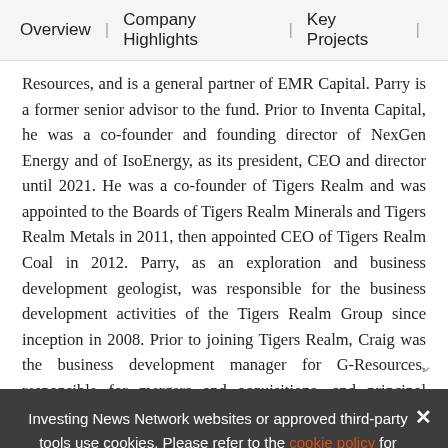Overview  |  Company Highlights  |  Key Projects  |
Resources, and is a general partner of EMR Capital. Parry is a former senior advisor to the fund. Prior to Inventa Capital, he was a co-founder and founding director of NexGen Energy and of IsoEnergy, as its president, CEO and director until 2021. He was a co-founder of Tigers Realm and was appointed to the Boards of Tigers Realm Minerals and Tigers Realm Metals in 2011, then appointed CEO of Tigers Realm Coal in 2012. Parry, as an exploration and business development geologist, was responsible for the business development activities of the Tigers Realm Group since inception in 2008. Prior to joining Tigers Realm, Craig was the business development manager for G-Resources, responsible for mergers and acquisitions, and principal geologist of new business at Oxiana, where he w…
Investing News Network websites or approved third-party tools use cookies. Please refer to the cookie policy for collected data, privacy and GDPR compliance. By continuing to browse the site, you agree to our use of cookies.